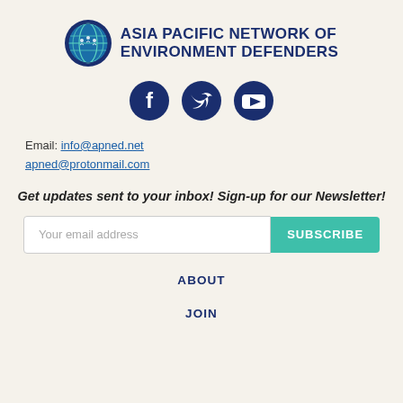[Figure (logo): Asia Pacific Network of Environment Defenders logo with globe icon and organization name in dark navy blue text]
[Figure (infographic): Three circular social media icons: Facebook (f), Twitter (bird), YouTube (play button), all dark navy blue]
Email: info@apned.net
apned@protonmail.com
Get updates sent to your inbox! Sign-up for our Newsletter!
[Figure (infographic): Email subscription form with placeholder text 'Your email address' and a teal SUBSCRIBE button]
ABOUT
JOIN